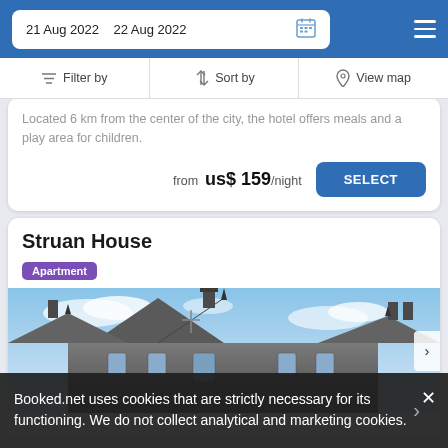21 Aug 2022   22 Aug 2022
Filter by  |  Sort by  |  View map
Located 6 km from the center of the city, the hotel offers meals and a play area for children.
from us$ 159/night  SELECT
Struan House
Apartment
[Figure (photo): Exterior photo of Struan House showing Victorian-style stone building with pointed gable roofs against a blue sky]
Booked.net uses cookies that are strictly necessary for its functioning. We do not collect analytical and marketing cookies.